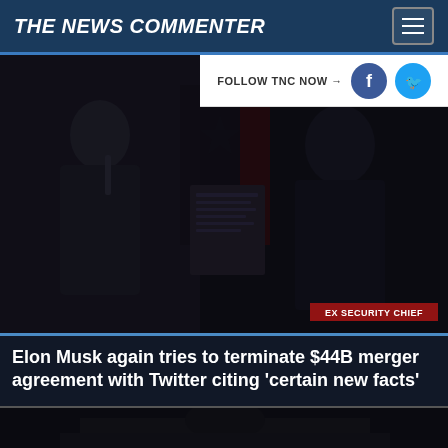THE NEWS COMMENTER
FOLLOW TNC NOW →
[Figure (photo): Dark image of two men, one speaking at a podium with a microphone, one in a suit with a tie; overlaid text reads EX SECURITY CHIEF]
Elon Musk again tries to terminate $44B merger agreement with Twitter citing 'certain new facts'
[Figure (photo): Dark image of a building with a dome visible at the top, partial view]